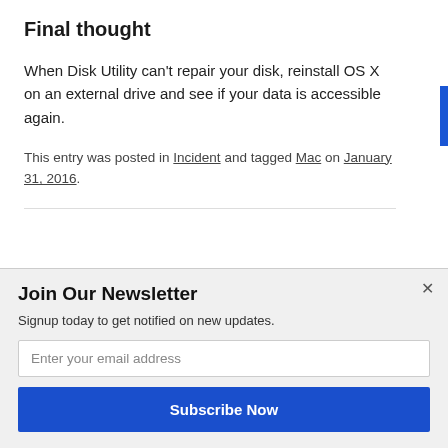Final thought
When Disk Utility can't repair your disk, reinstall OS X on an external drive and see if your data is accessible again.
This entry was posted in Incident and tagged Mac on January 31, 2016.
Join Our Newsletter
Signup today to get notified on new updates.
Enter your email address
Subscribe Now